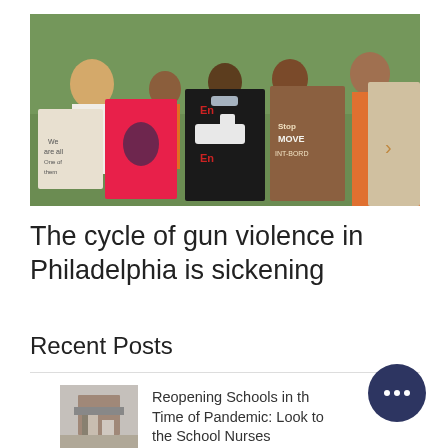[Figure (photo): Group of people, including children and adults, wearing orange shirts and holding protest signs against gun violence outdoors.]
The cycle of gun violence in Philadelphia is sickening
Recent Posts
[Figure (photo): Small thumbnail image of what appears to be a school building entrance.]
Reopening Schools in the Time of Pandemic: Look to the School Nurses